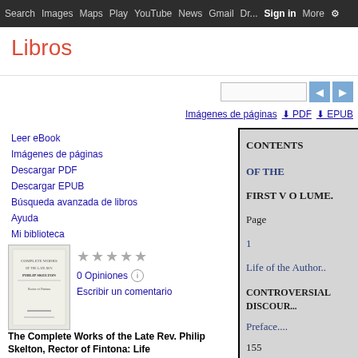Search  Images  Maps  Play  YouTube  News  Gmail  Drive  More  Sign in  Settings
Libros
Leer eBook
Imágenes de páginas
Descargar PDF
Descargar EPUB
Búsqueda avanzada de libros
Ayuda
Mi biblioteca
0 Opiniones
Escribir un comentario
The Complete Works of the Late Rev. Philip Skelton, Rector of Fintona: Life
[Figure (screenshot): Google Books interface showing a scanned page with CONTENTS OF THE FIRST VOLUME. Page 1 Life of the Author.. CONTROVERSIAL DISCOURS... Preface.... 155]
Imágenes de páginas  ⬇ PDF  ⬇ EPUB
CONTENTS

OF THE

FIRST V O LUME.

Page

1

Life of the Author..

CONTROVERSIAL DISCOUR...

Preface....

155